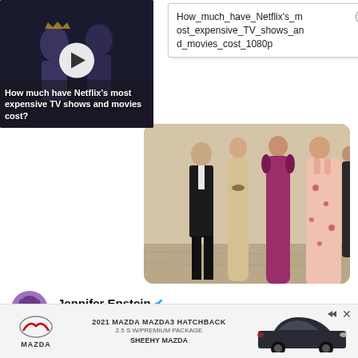[Figure (screenshot): Video thumbnail showing Netflix show scene with dark-toned two figures, play button overlay, label 'How_much_hav...' at top, caption 'How much have Netflix's most expensive TV shows and movies cost?']
[Figure (screenshot): Filename popup showing text: How_much_have_Netflix's_most_expensive_TV_shows_and_movies_cost_1080p with a close X button]
[Figure (photo): Photo of four people in formal attire — a man in a black suit and three women in evening gowns (beige, magenta/pink, and floral pink) standing together]
Jennifer Epstein @jeneps · Follow
And then Jill Biden joined them and they admired her corsage.
[Figure (screenshot): Advertisement banner for 2021 Mazda Mazda3 Hatchback 2.5 S W/Premium Package by Sheehy Mazda, showing Mazda logo and car image]